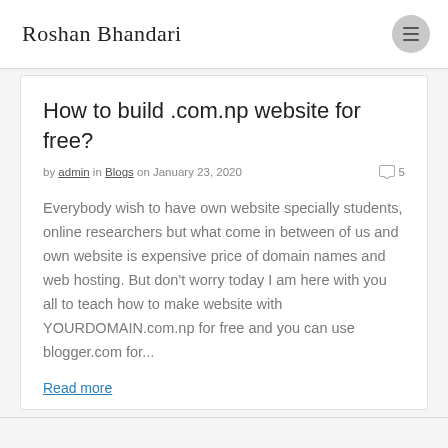Roshan Bhandari
How to build .com.np website for free?
by admin in Blogs on January 23, 2020  5
Everybody wish to have own website specially students, online researchers but what come in between of us and own website is expensive price of domain names and web hosting. But don't worry today I am here with you all to teach how to make website with YOURDOMAIN.com.np for free and you can use blogger.com for...
Read more